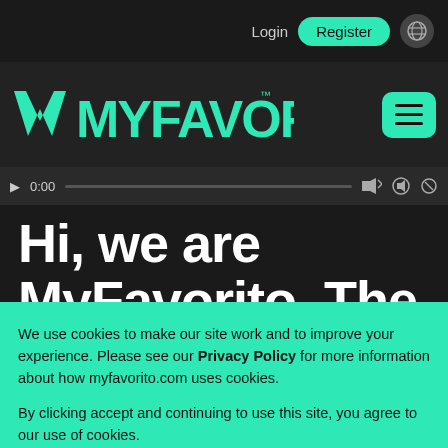Login  Register
[Figure (logo): MyFavorito logo in teal/green on dark background with hamburger menu button]
[Figure (screenshot): Video player bar showing 0:00 timestamp and playback controls]
Hi, we are MyFavorito. The
We use cookies to make our site work and to improve your experience. Please see our Privacy Policy for more information about how myfavorito.com uses cookies.
By clicking accept and continuing to use this site, you agree to our use of cookies.